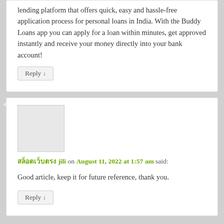lending platform that offers quick, easy and hassle-free application process for personal loans in India. With the Buddy Loans app you can apply for a loan within minutes, get approved instantly and receive your money directly into your bank account!
Reply ↓
สล็อตเว็บตรง jili on August 11, 2022 at 1:57 am said:
Good article, keep it for future reference, thank you.
Reply ↓